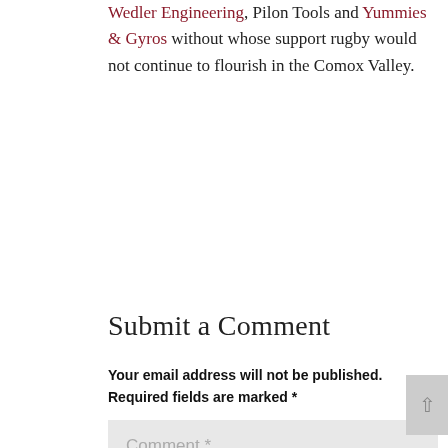Wedler Engineering, Pilon Tools and Yummies & Gyros without whose support rugby would not continue to flourish in the Comox Valley.
Submit a Comment
Your email address will not be published. Required fields are marked *